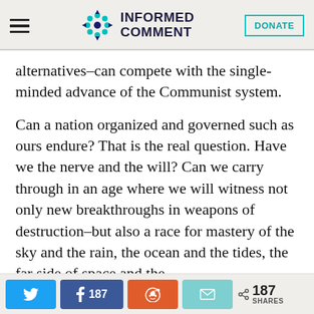INFORMED COMMENT | DONATE
alternatives–can compete with the single-minded advance of the Communist system.
Can a nation organized and governed such as ours endure? That is the real question. Have we the nerve and the will? Can we carry through in an age where we will witness not only new breakthroughs in weapons of destruction–but also a race for mastery of the sky and the rain, the ocean and the tides, the far side of space and the
Twitter | Facebook 187 | Reddit | Email | < 187 SHARES